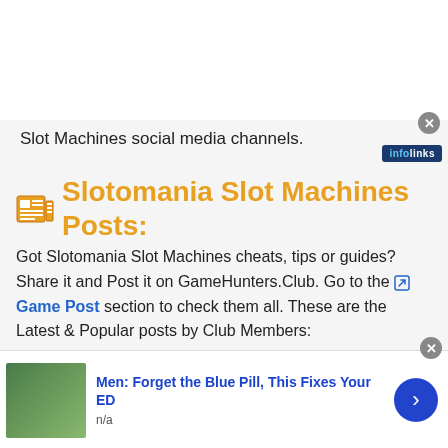[Figure (screenshot): White ad banner area at top of page]
Slot Machines social media channels.
[Figure (logo): infolinks badge top right]
Slotomania Slot Machines Posts:
Got Slotomania Slot Machines cheats, tips or guides? Share it and Post it on GameHunters.Club. Go to the Game Post section to check them all. These are the Latest & Popular posts by Club Members:
[Figure (screenshot): Screenshot of Slotomania game interface showing Get Coins banner, navigation bar with Game/Buy Coins/Gifts/Mobile/Tik Social/English tabs, buy button, and featured games sidebar with zynga poker]
[Figure (advertisement): Ad: Men: Forget the Blue Pill, This Fixes Your ED, with photo of green leaf, n/a label, and blue arrow button]